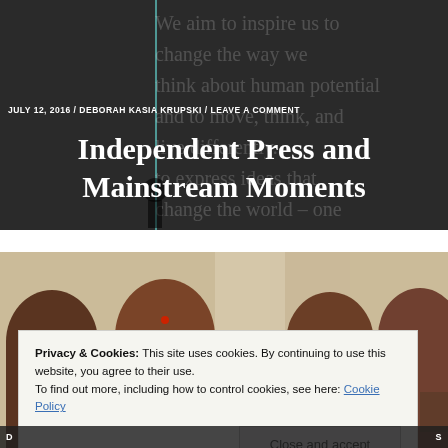We aim to inspire us to change the way we think about human potential and to move, think, and live differently. to express ideas that change the world – one individual at a time.
JULY 12, 2016 / DEBORAH KASIA KRUPSKI / LEAVE A COMMENT
Independent Press and Mainstream Moments
[Figure (photo): Four women's faces/heads visible from forehead level, cropped, with warm muted tones]
Privacy & Cookies: This site uses cookies. By continuing to use this website, you agree to their use.
To find out more, including how to control cookies, see here: Cookie Policy
Close and accept
D ... S